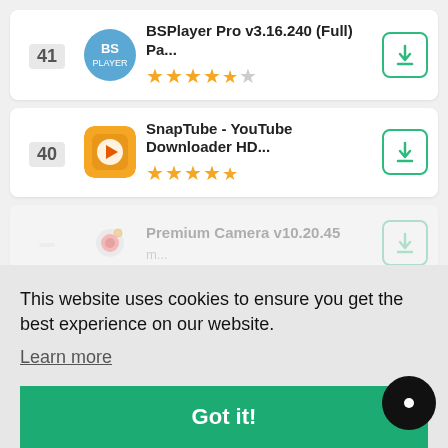41 BSPlayer Pro v3.16.240 (Full) Pa... ★★★★½
40 SnapTube - YouTube Downloader HD... ★★★★½
Premium Camera v10.20.45
This website uses cookies to ensure you get the best experience on our website.
Learn more
Got it!
Download...